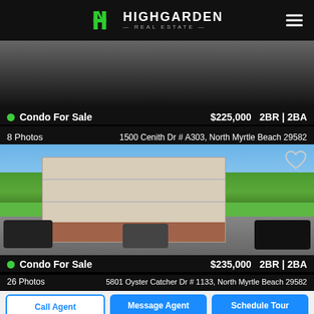HIGHGARDEN REAL ESTATE
[Figure (photo): Partial exterior photo of a condo building, dark/obscured]
● Condo For Sale   $225,000   2BR | 2BA
8 Photos   1500 Cenith Dr # A303, North Myrtle Beach 29582
[Figure (photo): Exterior photo of a multi-story condo building with palm trees and parking lot with cars]
● Condo For Sale   $235,000   2BR | 2BA
26 Photos   5801 Oyster Catcher Dr # 1133, North Myrtle Beach 29582
Call Agent   Message Agent   Schedule Tour
[Figure (photo): Partial exterior photo of another condo building at bottom of page]